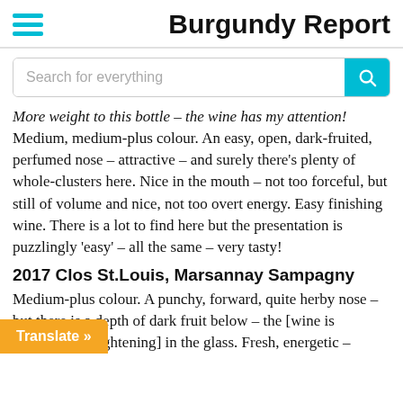Burgundy Report
More weight to this bottle – the wine has my attention! Medium, medium-plus colour. An easy, open, dark-fruited, perfumed nose – attractive – and surely there's plenty of whole-clusters here. Nice in the mouth – not too forceful, but still of volume and nice, not too overt energy. Easy finishing wine. There is a lot to find here but the presentation is puzzlingly 'easy' – all the same – very tasty!
2017 Clos St.Louis, Marsannay Sampagny
Medium-plus colour. A punchy, forward, quite herby nose – but there is a depth of dark fruit below – the [wine is broadening/brightening] in the glass. Fresh, energetic –